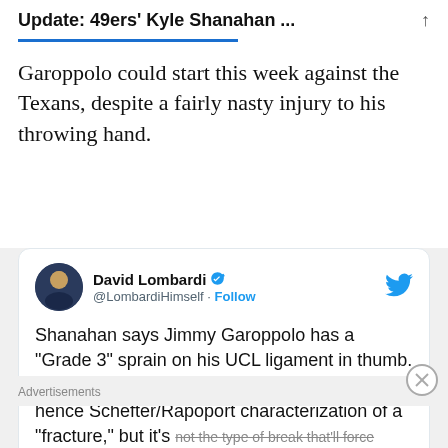Update: 49ers' Kyle Shanahan ...
Garoppolo could start this week against the Texans, despite a fairly nasty injury to his throwing hand.
[Figure (screenshot): Embedded tweet from @LombardiHimself (David Lombardi) with Twitter bird icon. Tweet text: Shanahan says Jimmy Garoppolo has a "Grade 3" sprain on his UCL ligament in thumb. This naturally pulled off a tiny part of bone, hence Schefter/Rapoport characterization of a "fracture," but it's not the type of break that'll force... (truncated)]
Advertisements